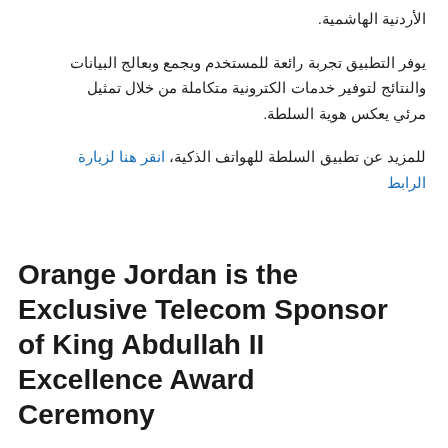الأردنية الهاشمية.
يوفر التطبيق تجربة رائعة للمستخدم وبجمع وبعالج البيانات والنتائج لتوفير خدمات الكترونية متكاملة من خلال تمثيل مرئي يعكس هوية السلطة.
للمزيد عن تطبيق السلطة للهواتف الذكية، انقر هنا لزيارة الرابط
Orange Jordan is the Exclusive Telecom Sponsor of King Abdullah II Excellence Award Ceremony